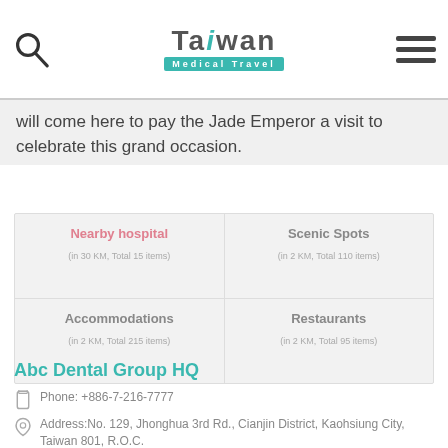Taiwan Medical Travel
will come here to pay the Jade Emperor a visit to celebrate this grand occasion.
| Nearby hospital | Scenic Spots |
| --- | --- |
| (in 30 KM, Total 15 items) | (in 2 KM, Total 110 items) |
| Accommodations
(in 2 KM, Total 215 items) | Restaurants
(in 2 KM, Total 95 items) |
Abc Dental Group HQ
Phone: +886-7-216-7777
Address:No. 129, Jhonghua 3rd Rd., Cianjin District, Kaohsiung City, Taiwan 801, R.O.C.